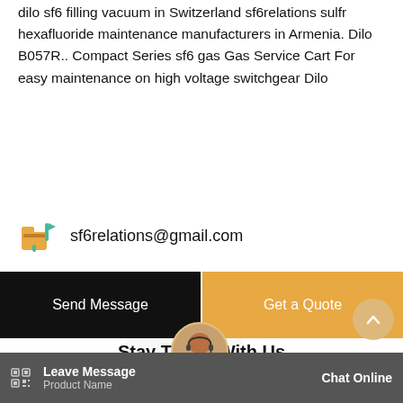dilo sf6 filling vacuum in Switzerland sf6relations sulfr hexafluoride maintenance manufacturers in Armenia. Dilo B057R.. Compact Series sf6 gas Gas Service Cart For easy maintenance on high voltage switchgear Dilo
sf6relations@gmail.com
Send Message
Get a Quote
Stay Touch With Us
Need more information about our products and prices?Just contact us, we are waiting f
Leave Message
Product Name
Chat Online